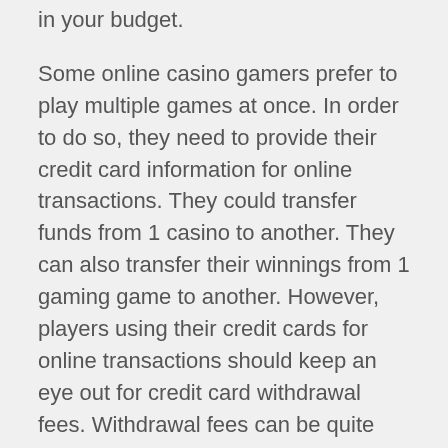in your budget.
Some online casino gamers prefer to play multiple games at once. In order to do so, they need to provide their credit card information for online transactions. They could transfer funds from 1 casino to another. They can also transfer their winnings from 1 gaming game to another. However, players using their credit cards for online transactions should keep an eye out for credit card withdrawal fees. Withdrawal fees can be quite pricey.
No deposit supply are a great way for online casino poker players to earn extra money. However, players need to be cautious about accepting a deal. They ought to make sure to read all the particulars of this no deposit offer and choose one that matches their needs best. They must also keep an eye on the